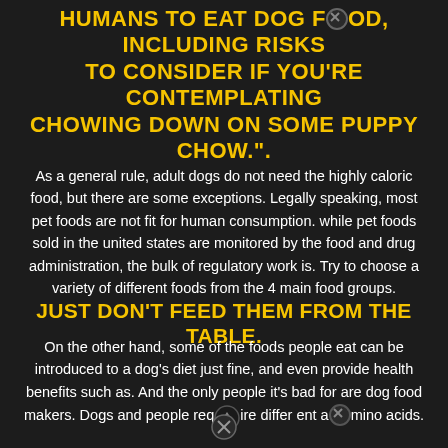HUMANS TO EAT DOG FOOD, INCLUDING RISKS TO CONSIDER IF YOU'RE CONTEMPLATING CHOWING DOWN ON SOME PUPPY CHOW.".
As a general rule, adult dogs do not need the highly caloric food, but there are some exceptions. Legally speaking, most pet foods are not fit for human consumption. while pet foods sold in the united states are monitored by the food and drug administration, the bulk of regulatory work is. Try to choose a variety of different foods from the 4 main food groups.
JUST DON'T FEED THEM FROM THE TABLE.
On the other hand, some of the foods people eat can be introduced to a dog's diet just fine, and even provide health benefits such as. And the only people it's bad for are dog food makers. Dogs and people require differ ent amino acids.